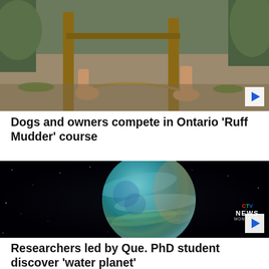[Figure (photo): Outdoor scene showing hands near wooden post and dirt ground with plants, top portion of a 'Ruff Mudder' dog course video thumbnail]
Dogs and owners compete in Ontario 'Ruff Mudder' course
[Figure (photo): Artistic rendering of a teal/blue ocean planet (water world) against a black starry space background, with CTV News Montreal logo overlay — video thumbnail]
Researchers led by Que. PhD student discover 'water planet'